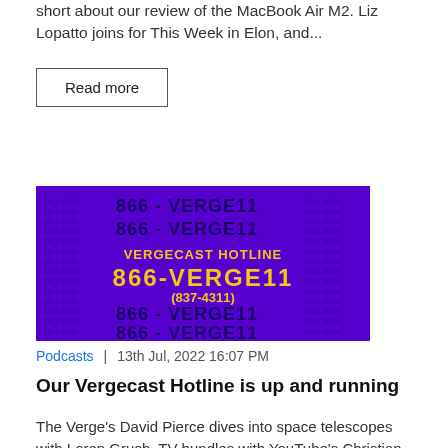short about our review of the MacBook Air M2. Liz Lopatto joins for This Week in Elon, and...
Read more
[Figure (photo): Purple background image showing 'VERGECAST HOTLINE 866-VERGE11 (837-4311)' text with repeated '866-VERGE11' and 'CALL NOW' text in yellow and dark colors]
Podcasts  |  13th Jul, 2022 16:07 PM
Our Vergecast Hotline is up and running
The Verge's David Pierce dives into space telescopes with Loren Grush, TV bundles with YouTube's Christian